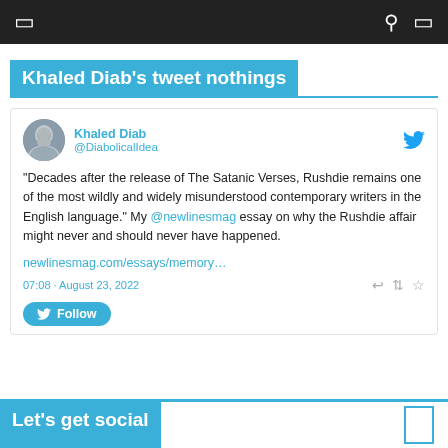navigation bar with icons
Khaled Diab's tweet nothings
[Figure (screenshot): Tweet card from Khaled Diab (@DiabolicalIdea) showing tweet about Rushdie and The Satanic Verses, dated 07:08 · August 23, 2022]
Let's get social